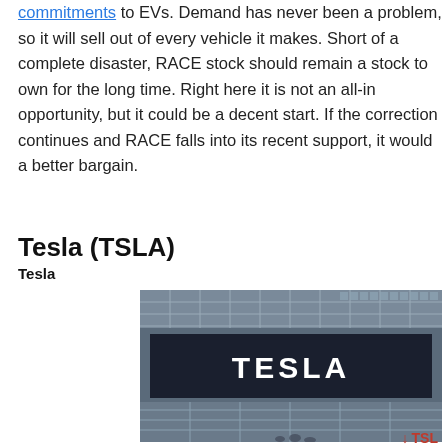commitments to EVs. Demand has never been a problem, so it will sell out of every vehicle it makes. Short of a complete disaster, RACE stock should remain a stock to own for the long time. Right here it is not an all-in opportunity, but it could be a decent start. If the correction continues and RACE falls into its recent support, it would a better bargain.
Tesla (TSLA)
Tesla
[Figure (photo): Photograph of a Tesla storefront showing the TESLA logo in large white letters on a dark sign, with glass facade and ceiling grid structure visible.]
↓ TSL